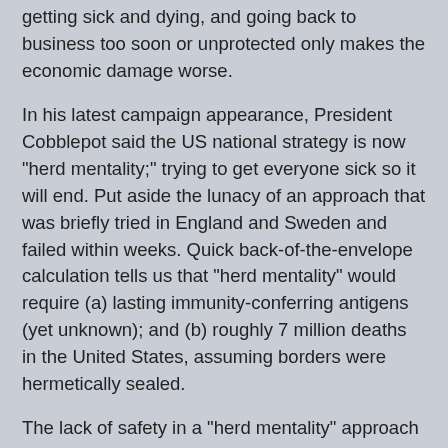getting sick and dying, and going back to business too soon or unprotected only makes the economic damage worse.
In his latest campaign appearance, President Cobblepot said the US national strategy is now "herd mentality;" trying to get everyone sick so it will end. Put aside the lunacy of an approach that was briefly tried in England and Sweden and failed within weeks. Quick back-of-the-envelope calculation tells us that "herd mentality" would require (a) lasting immunity-conferring antigens (yet unknown); and (b) roughly 7 million deaths in the United States, assuming borders were hermetically sealed.
The lack of safety in a "herd mentality" approach could well keep all but the most diehard Cobblepot minions away from the polls in November and, with his already-telegraphed strategy of challenging the legality of mailed ballots, William "Butch" Barr, the president's latest bag man, is now preparing to deliver a four year renewal of the Gotham follies unless derailed by write-ins for #Kanye2020 from a bored polity thirsting for less Sturm und Drang and more Kardashian. (Still, this crime family is more prepared than most. Supreme Court Justice Kushnercan write the majority